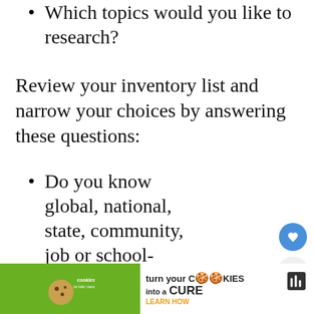Which topics would you like to research?
Review your inventory list and narrow your choices by answering these questions:
Do you know global, national, state, community, job or school-related problems and